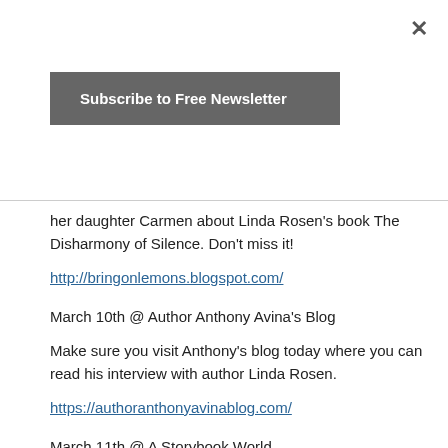×
Subscribe to Free Newsletter
her daughter Carmen about Linda Rosen's book The Disharmony of Silence. Don't miss it!
http://bringonlemons.blogspot.com/
March 10th @ Author Anthony Avina's Blog
Make sure you visit Anthony's blog today where you can read his interview with author Linda Rosen.
https://authoranthonyavinablog.com/
March 11th @ A Storybook World
Blogger Deirdra Eden spotlights Linda Rosen's book The